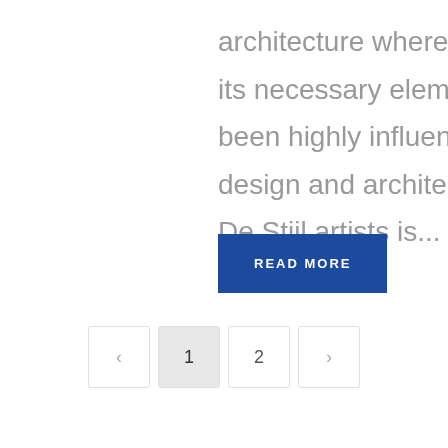architecture where in the subject is reduced to its necessary elements. Minimalist design has been highly influenced by Japanese traditional design and architecture. In addition, the work of De Stijl artists is...
READ MORE
< 1 2 >